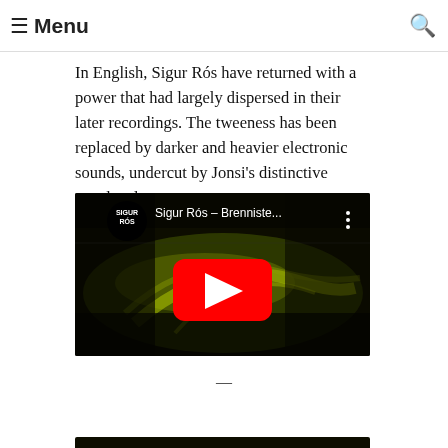☰ Menu 🔍
In English, Sigur Rós have returned with a power that had largely dispersed in their later recordings. The tweeness has been replaced by darker and heavier electronic sounds, undercut by Jonsi's distinctive vocal style.
[Figure (screenshot): YouTube video thumbnail for Sigur Rós - Brenniste... showing channel logo with SIGUR RÓS text, video title, three-dot menu icon, dark background with yellow-green light streaks, and red YouTube play button in center.]
—